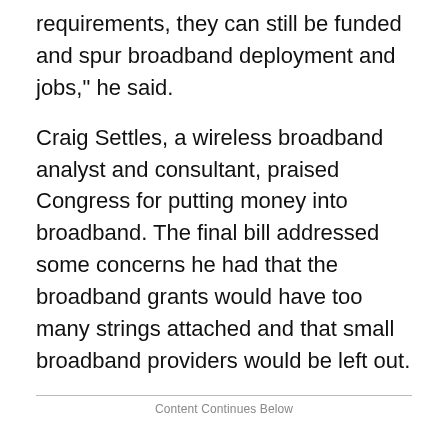requirements, they can still be funded and spur broadband deployment and jobs," he said.
Craig Settles, a wireless broadband analyst and consultant, praised Congress for putting money into broadband. The final bill addressed some concerns he had that the broadband grants would have too many strings attached and that small broadband providers would be left out.
Content Continues Below
"This actually turned out better than I thought it would because the language isn't overly prescriptive," he said. "It allows communities to